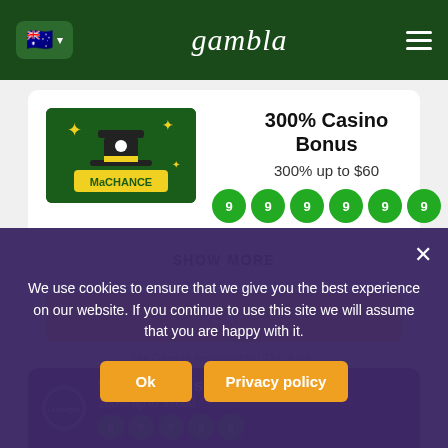gambla
300% Casino Bonus
300% up to $60
SHOW MORE
PLAY
18+ Gamble Responsibly | T&C Apply.
$1000 Bonus
100% up to $1000
We use cookies to ensure that we give you the best experience on our website. If you continue to use this site we will assume that you are happy with it.
Ok
Privacy policy